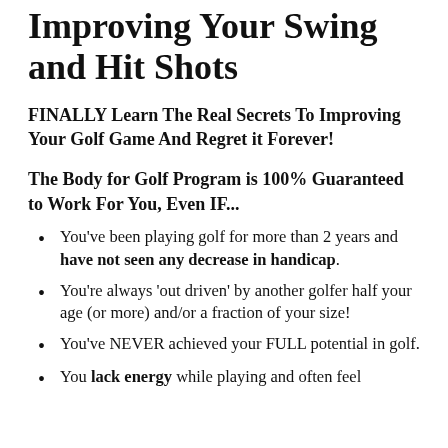Improving Your Swing and Hit Shots
FINALLY Learn The Real Secrets To Improving Your Golf Game And Regret it Forever!
The Body for Golf Program is 100% Guaranteed to Work For You, Even IF...
You've been playing golf for more than 2 years and have not seen any decrease in handicap.
You're always 'out driven' by another golfer half your age (or more) and/or a fraction of your size!
You've NEVER achieved your FULL potential in golf.
You lack energy while playing and often feel